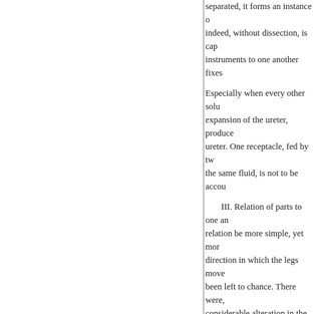separated, it forms an instance of indeed, without dissection, is cap instruments to one another fixes
Especially when every other solu expansion of the ureter, produce ureter. One receptacle, fed by tw the same fluid, is not to be accou
III. Relation of parts to one an relation be more simple, yet mor direction in which the legs move been left to chance. There were, considerable alteration in the pos and destroyed the alliance betwe
IV. But relation perhaps is new thing, but between different thin between different parts of the lo design is more evident for their b
Nor do the work of the Deity wa other. They form the grand relati clearest relations of art, in differ
So much so, that, were every o sufficient. The example is come